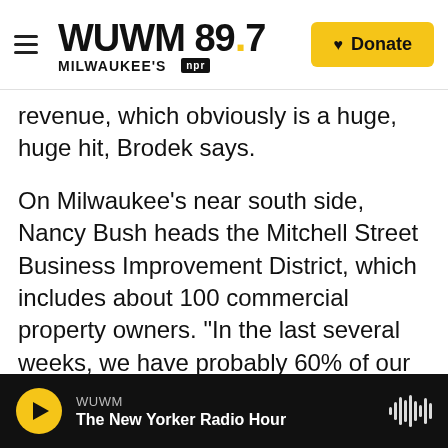WUWM 89.7 Milwaukee's NPR | Donate
revenue, which obviously is a huge, huge hit, Brodek says.
On Milwaukee’s near south side, Nancy Bush heads the Mitchell Street Business Improvement District, which includes about 100 commercial property owners. “In the last several weeks, we have probably 60% of our small businesses — that includes retailers, merchants — who have had to close,” she says.
The business advocates say firms that are still open are gas stations, grocery outlets, dollar-type stores, and restaurants that have an active takeout
WUWM | The New Yorker Radio Hour